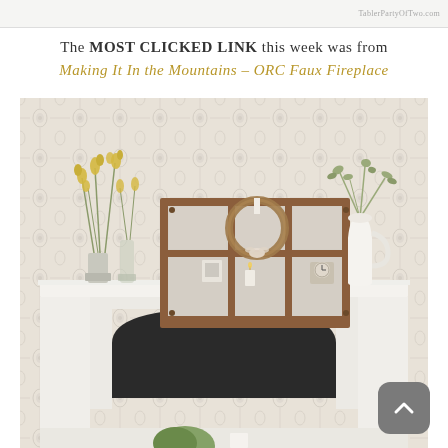TablerPartyOfTwo.com
The MOST CLICKED LINK this week was from
Making It In the Mountains – ORC Faux Fireplace
[Figure (photo): A styled faux fireplace mantel with a rustic wooden window frame art piece, a wicker wreath, yellow flowers in glass vases, greenery in a white pitcher, a small clock, and candles on the mantel. The background features a light grey damask patterned wallpaper. The fireplace surround is white with a dark arched firebox opening.]